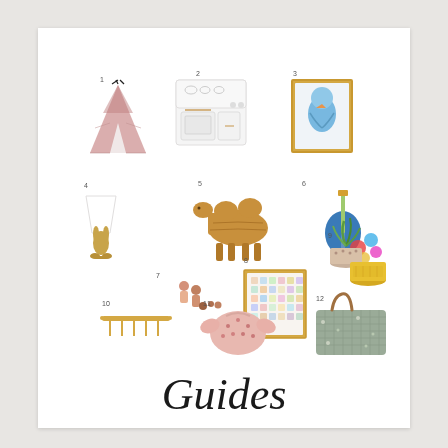[Figure (illustration): A product guide collage showing 12 numbered children's and home items: 1-pink teepee tent, 2-white toy kitchen/stove, 3-framed blue parrot art print, 4-gold rabbit lamp, 5-wicker camel figurine, 6-colorful toy ukulele/guitar, 7-wooden figure toys, 8-framed animal alphabet art, 9-plant in patterned pot with yellow planter, 10-gold wall hook/rack, 11-pink floral baby jacket, 12-woven/fabric tote bag]
Guides